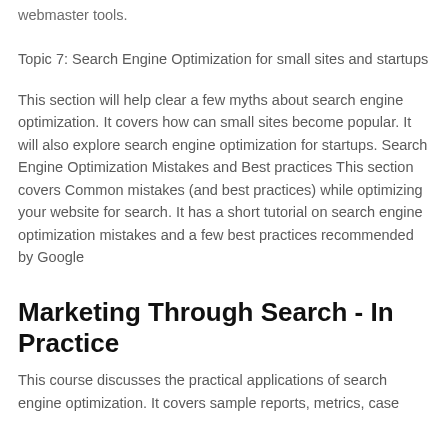webmaster tools.
Topic 7: Search Engine Optimization for small sites and startups
This section will help clear a few myths about search engine optimization. It covers how can small sites become popular. It will also explore search engine optimization for startups. Search Engine Optimization Mistakes and Best practices This section covers Common mistakes (and best practices) while optimizing your website for search. It has a short tutorial on search engine optimization mistakes and a few best practices recommended by Google
Marketing Through Search - In Practice
This course discusses the practical applications of search engine optimization. It covers sample reports, metrics, case